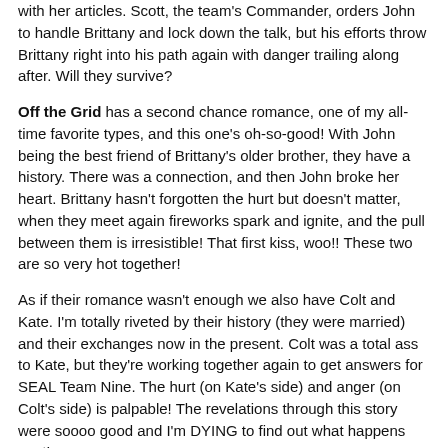with her articles.  Scott, the team's Commander, orders John to handle Brittany and lock down the talk, but his efforts throw Brittany right into his path again with danger trailing along after. Will they survive?
Off the Grid has a second chance romance, one of my all-time favorite types, and this one's oh-so-good! With John being the best friend of Brittany's older brother, they have a history.  There was a connection, and then John broke her heart.  Brittany hasn't forgotten the hurt but doesn't matter, when they meet again fireworks spark and ignite, and the pull between them is irresistible!  That first kiss, woo!! These two are so very hot together!
As if their romance wasn't enough we also have Colt and Kate.  I'm totally riveted by their history (they were married) and their exchanges now in the present.  Colt was a total ass to Kate, but they're working together again to get answers for SEAL Team Nine.  The hurt (on Kate's side) and anger (on Colt's side) is palpable!  The revelations through this story were soooo good and I'm DYING to find out what happens next!